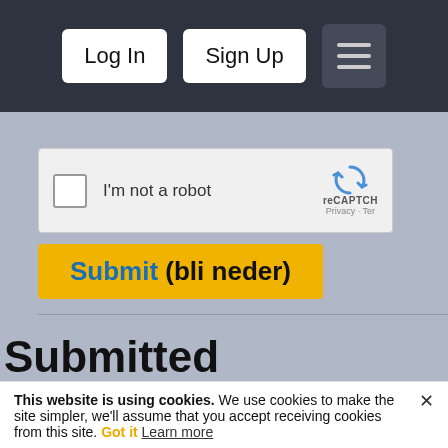Log In | Sign Up | [menu]
[Figure (screenshot): reCAPTCHA widget with checkbox labeled 'I'm not a robot' and reCAPTCHA logo/branding on the right]
Submit (bli neder)
Submitted Comments
0 comments
Add a Comment
This website is using cookies. We use cookies to make the site simpler, we'll assume that you accept receiving cookies from this site. Got it Learn more